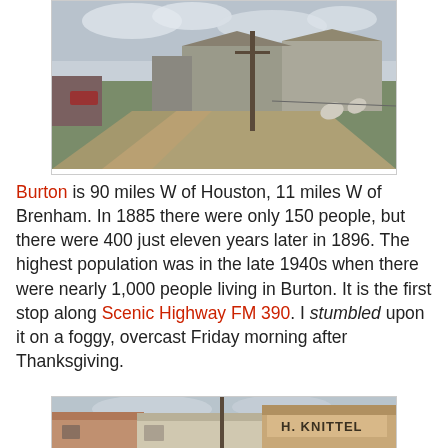[Figure (photo): Street-level view of Burton, Texas showing a rural road intersection with old wooden buildings, utility poles, and a grassy area under overcast sky.]
Burton is 90 miles W of Houston, 11 miles W of Brenham. In 1885 there were only 150 people, but there were 400 just eleven years later in 1896. The highest population was in the late 1940s when there were nearly 1,000 people living in Burton. It is the first stop along Scenic Highway FM 390. I stumbled upon it on a foggy, overcast Friday morning after Thanksgiving.
[Figure (photo): Street view of Burton, Texas showing storefronts including the H. Knittel building, with utility poles and overcast sky.]